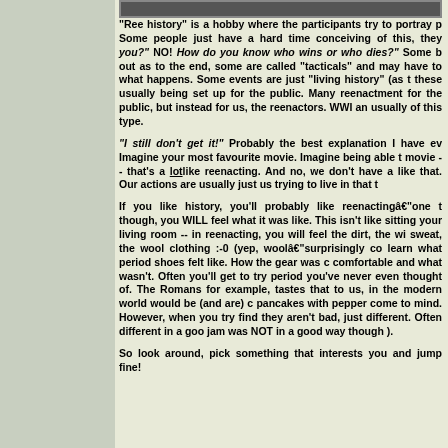[Figure (photo): A partial image strip at the top of the content area showing what appears to be an outdoor scene]
"Ree history" is a hobby where the participants try to portray p Some people just have a hard time conceiving of this, they you?" NO! How do you know who wins or who dies?" Some b out as to the end, some are called "tacticals" and may have to what happens. Some events are just "living history" (as t these usually being set up for the public. Many reenactment for the public, but instead for us, the reenactors. WWI an usually of this type.
"I still don't get it!" Probably the best explanation I have ev Imagine your most favourite movie. Imagine being able t movie -- that's a lot like reenacting. And no, we don't have a like that. Our actions are usually just us trying to live in that t
If you like history, you'll probably like reenactingâ€"one t though, you WILL feel what it was like. This isn't like sitting your living room -- in reenacting, you will feel the dirt, the win sweat, the wool clothing :-0 (yep, woolâ€"surprisingly co learn what period shoes felt like. How the gear was c comfortable and what wasn't. Often you'll get to try period you've never even thought of. The Romans for example, tastes that to us, in the modern world would be (and are) c pancakes with pepper come to mind. However, when you try find they aren't bad, just different. Often different in a goo jam was NOT in a good way though ).
So look around, pick something that interests you and jump fine!